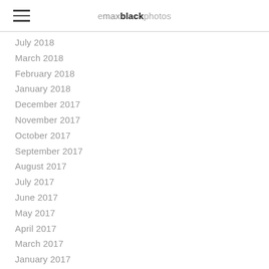emaxblackphotos
July 2018
March 2018
February 2018
January 2018
December 2017
November 2017
October 2017
September 2017
August 2017
July 2017
June 2017
May 2017
April 2017
March 2017
January 2017
November 2016
October 2016
September 2016